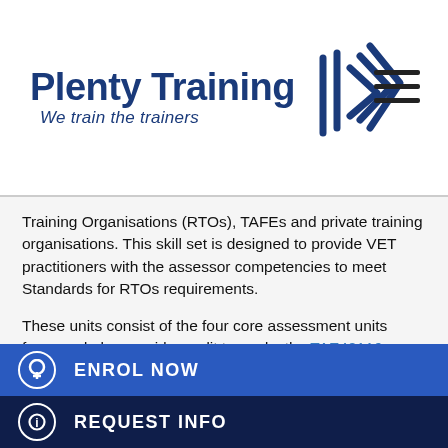[Figure (logo): Plenty Training logo with stylized P arrow icon and tagline 'We train the trainers']
Training Organisations (RTOs), TAFEs and private training organisations. This skill set is designed to provide VET practitioners with the assessor competencies to meet Standards for RTOs requirements.
These units consist of the four core assessment units from, and also provide credit towards, the TAE40116 Certificate IV in Training and Assessment:
TAEASS401 Plan assessment activities and processes
TAEASS402 Assess competence
ENROL NOW
REQUEST INFO